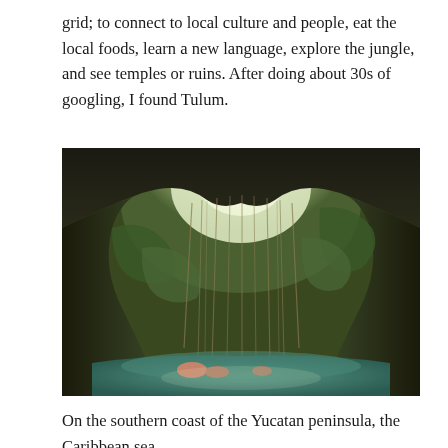grid; to connect to local culture and people, eat the local foods, learn a new language, explore the jungle, and see temples or ruins. After doing about 30s of googling, I found Tulum.
[Figure (photo): A cenote (natural sinkhole) viewed from inside, with light streaming through a large opening in the cave ceiling, hanging roots or vines cascading down moss-covered rocky walls, and turquoise water below with people swimming.]
On the southern coast of the Yucatan peninsula, the Caribbean sea